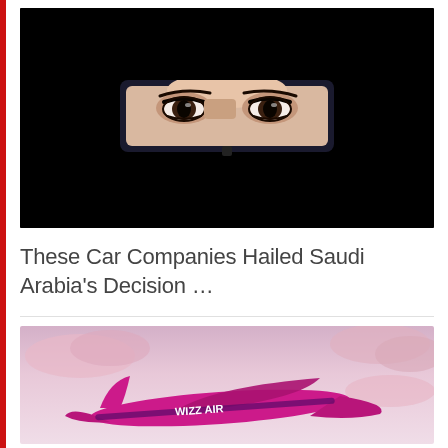[Figure (photo): A woman wearing a black niqab seen reflected in a car rearview mirror, showing only her eyes with dark eye makeup.]
These Car Companies Hailed Saudi Arabia's Decision …
[Figure (photo): A Wizz Air airplane flying through a pink cloudy sky.]